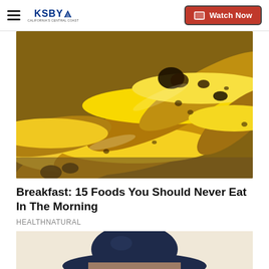KSBY — California's Central Coast | Watch Now
[Figure (photo): Close-up photo of a bunch of ripe yellow bananas piled together on a burlap surface]
Breakfast: 15 Foods You Should Never Eat In The Morning
HEALTHNATURAL
[Figure (photo): Partial photo showing a person wearing a dark navy cowboy hat, cropped at the forehead]